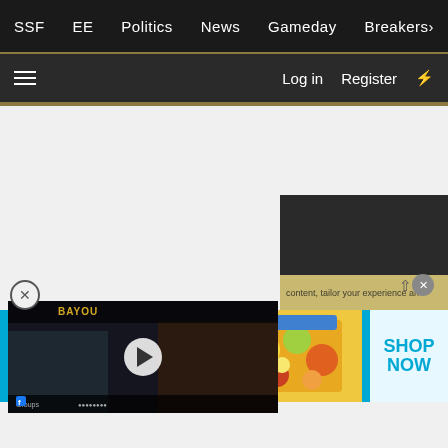SSF  EE  Politics  News  Gameday  Breakers
Log in  Register
[Figure (screenshot): Video thumbnail showing two people in what appears to be a sports broadcast/stream with play button overlay, Facebook sharing icon and channel name at bottom]
content, tailor your experience an
[Figure (photo): Advertisement banner for Cheryl's Cookies: CELEBRATE ALL SUMMER LONG - CHECK OUT SWEET SEASONAL TREATS AND MORE FROM OUR FAMILY OF BRANDS. SHOP NOW - showing colorful summer food/cookies spread]